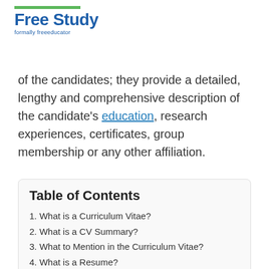Free Study formally freeeducator
of the candidates; they provide a detailed, lengthy and comprehensive description of the candidate's education, research experiences, certificates, group membership or any other affiliation.
Table of Contents
1. What is a Curriculum Vitae?
2. What is a CV Summary?
3. What to Mention in the Curriculum Vitae?
4. What is a Resume?
5. Resume and Curriculum Vitae Writing Suggestions